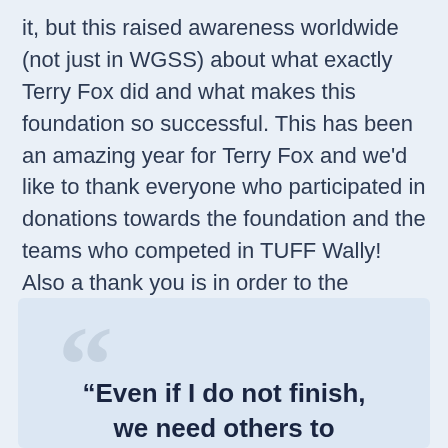it, but this raised awareness worldwide (not just in WGSS) about what exactly Terry Fox did and what makes this foundation so successful. This has been an amazing year for Terry Fox and we'd like to thank everyone who participated in donations towards the foundation and the teams who competed in TUFF Wally! Also a thank you is in order to the teachers and students for their amazing support and for helping this event go smoothly!
“Even if I do not finish, we need others to continue. It has got to